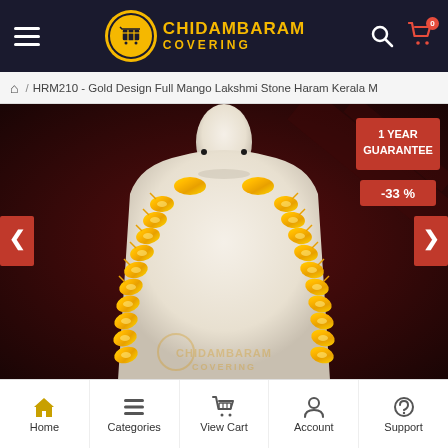Chidambaram Covering
HRM210 - Gold Design Full Mango Lakshmi Stone Haram Kerala M
[Figure (photo): White mannequin bust displaying a long gold mango Lakshmi stone haram necklace against a dark red background. A '1 YEAR GUARANTEE' badge appears in red at top right, and a '-33 %' discount badge below it. A watermark reads 'CHIDAMBARAM COVERING' at the bottom.]
Home | Categories | View Cart | Account | Support